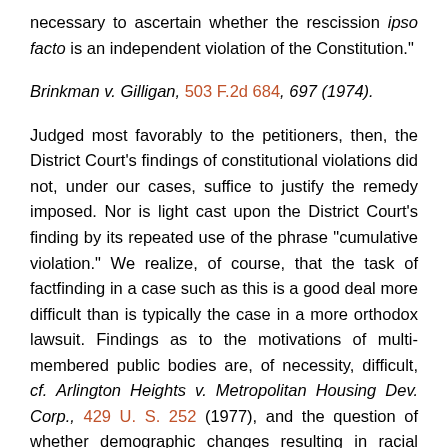necessary to ascertain whether the rescission ipso facto is an independent violation of the Constitution."
Brinkman v. Gilligan, 503 F.2d 684, 697 (1974).
Judged most favorably to the petitioners, then, the District Court's findings of constitutional violations did not, under our cases, suffice to justify the remedy imposed. Nor is light cast upon the District Court's finding by its repeated use of the phrase "cumulative violation." We realize, of course, that the task of factfinding in a case such as this is a good deal more difficult than is typically the case in a more orthodox lawsuit. Findings as to the motivations of multi-membered public bodies are, of necessity, difficult, cf. Arlington Heights v. Metropolitan Housing Dev. Corp., 429 U. S. 252 (1977), and the question of whether demographic changes resulting in racial concentration occurred from purely neutral public actions or were